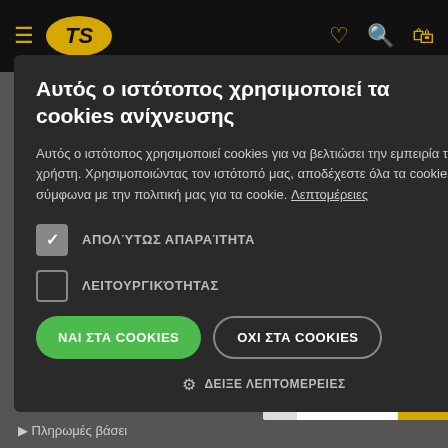[Figure (screenshot): Website navigation bar with hamburger menu, TS logo in yellow oval, and icons for heart (wishlist), search, and shopping bag on black background]
Αυτός ο ιστότοπος χρησιμοποιεί τα cookies ανίχνευσης
Αυτός ο ιστότοπος χρησιμοποιεί cookies για να βελτιώσει την εμπειρία του χρήστη. Χρησιμοποιώντας τον ιστότοπό μας, αποδέχεστε όλα τα cookies σύμφωνα με την πολιτική μας για τα cookie. Λεπτομέρειες
ΑΠΟΛΎΤΩΣ ΑΠΑΡΑΊΤΗΤΑ
ΛΕΙΤΟΥΡΓΙΚΌΤΗΤΑΣ
ΝΑΙ ΣΤΑ COOKIES | ΟΧΙ ΣΤΑ COOKIES
ΔΕΙΞΕ ΛΕΠΤΟΜΕΡΕΙΕΣ
[Figure (logo): ΕΣΠΑ 2014-2020 logo with Greek flag and EU stars]
Πληρωμές βάσει